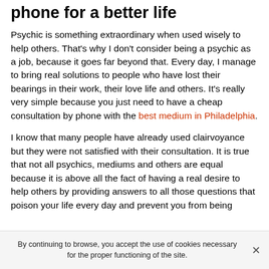phone for a better life
Psychic is something extraordinary when used wisely to help others. That's why I don't consider being a psychic as a job, because it goes far beyond that. Every day, I manage to bring real solutions to people who have lost their bearings in their work, their love life and others. It's really very simple because you just need to have a cheap consultation by phone with the best medium in Philadelphia.
I know that many people have already used clairvoyance but they were not satisfied with their consultation. It is true that not all psychics, mediums and others are equal because it is above all the fact of having a real desire to help others by providing answers to all those questions that poison your life every day and prevent you from being
By continuing to browse, you accept the use of cookies necessary for the proper functioning of the site.